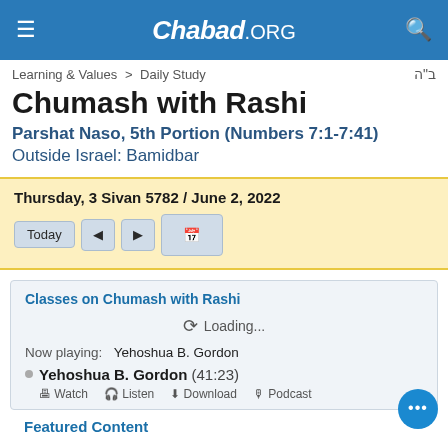Chabad.ORG
Learning & Values > Daily Study | ב"ה
Chumash with Rashi
Parshat Naso, 5th Portion (Numbers 7:1-7:41)
Outside Israel: Bamidbar
Thursday, 3 Sivan 5782 / June 2, 2022
Classes on Chumash with Rashi
Loading...
Now playing:   Yehoshua B. Gordon
Yehoshua B. Gordon  (41:23)
Watch   Listen   Download   Podcast
Featured Content